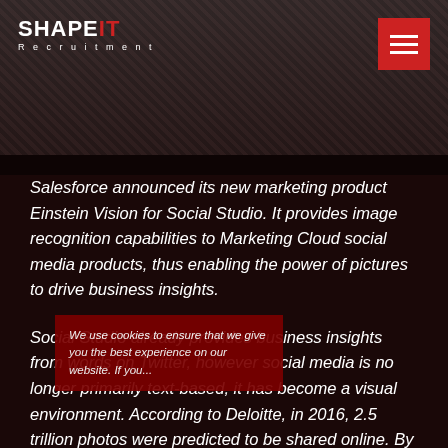[Figure (screenshot): Header image with dark background showing scattered photographs and textures]
SHAPEIT Recruitment
Salesforce announced its new marketing product Einstein Vision for Social Studio. It provides image recognition capabilities to Marketing Cloud social media products, thus enabling the power of pictures to drive business insights.
Social Studio already provides business insights from words on Twitter, however social media is no longer primarily text-based, it has become a visual environment. According to Deloitte, in 2016, 2.5 trillion photos were predicted to be shared online. By introducing Einstein Vision for Social Studio, Salesforce now allows companies to find out and understand how product images are being used online.
We use cookies to ensure that we give you the best experience on our website. If you...